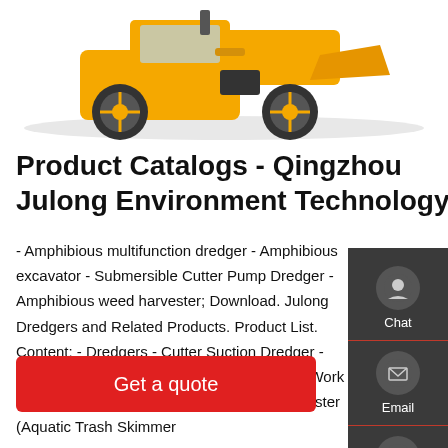[Figure (photo): Yellow construction / industrial wheel loader machinery photographed from the front-left angle, partially cropped at top of page, on white background.]
Product Catalogs - Qingzhou Julong Environment Technology
- Amphibious multifunction dredger - Amphibious excavator - Submersible Cutter Pump Dredger - Amphibious weed harvester; Download. Julong Dredgers and Related Products. Product List. Content: - Dredgers - Cutter Suction Dredger - River Sand Dredger - Cutter Head Dredge - Work Boat; Download. Julong Aquatic Weed Harvester (Aquatic Trash Skimmer